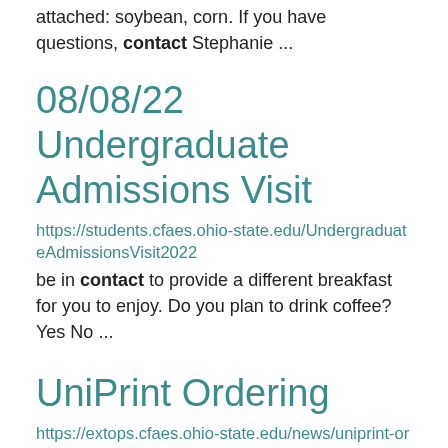attached: soybean, corn. If you have questions, contact Stephanie ...
08/08/22 Undergraduate Admissions Visit
https://students.cfaes.ohio-state.edu/UndergraduateAdmissionsVisit2022
be in contact to provide a different breakfast for you to enjoy. Do you plan to drink coffee? Yes No ...
UniPrint Ordering
https://extops.cfaes.ohio-state.edu/news/uniprint-ordering
UniPrint to quote the large jobs, can get a quote within 24 hours. ... Contacts: Paul